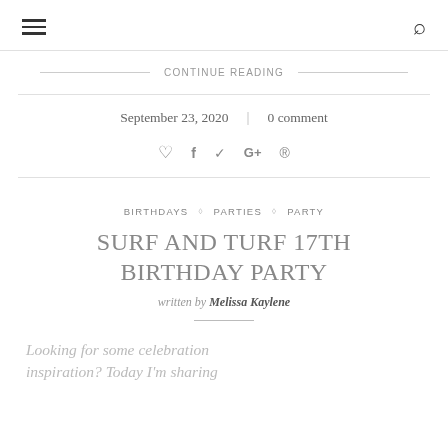≡  🔍
CONTINUE READING
September 23, 2020  |  0 comment
♡  f  🐦  G+   pinterest
BIRTHDAYS ◇ PARTIES ◇ PARTY
SURF AND TURF 17TH BIRTHDAY PARTY
written by Melissa Kaylene
Looking for some celebration inspiration? Today I'm sharing